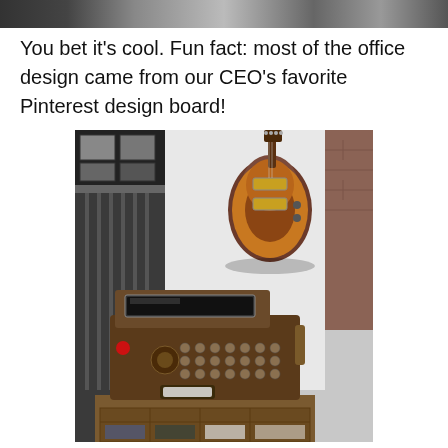[Figure (photo): Partial top strip of an office photo showing people and interior decor]
You bet it's cool. Fun fact: most of the office design came from our CEO's favorite Pinterest design board!
[Figure (photo): Photo of a vintage antique cash register on a wooden table with a guitar hanging on the wall behind it]